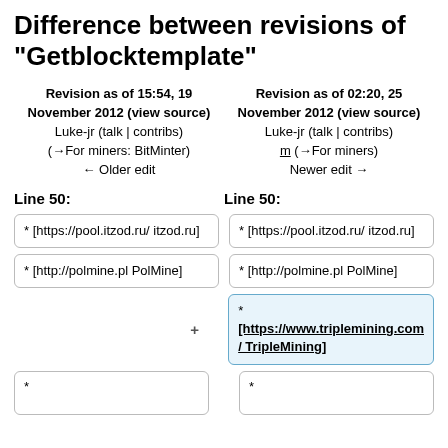Difference between revisions of "Getblocktemplate"
Revision as of 15:54, 19 November 2012 (view source)
Luke-jr (talk | contribs)
(→For miners: BitMinter)
← Older edit
Revision as of 02:20, 25 November 2012 (view source)
Luke-jr (talk | contribs)
m (→For miners)
Newer edit →
Line 50:
Line 50:
* [https://pool.itzod.ru/ itzod.ru]
* [https://pool.itzod.ru/ itzod.ru]
* [http://polmine.pl PolMine]
* [http://polmine.pl PolMine]
* [https://www.triplemining.com/ TripleMining]
*
*